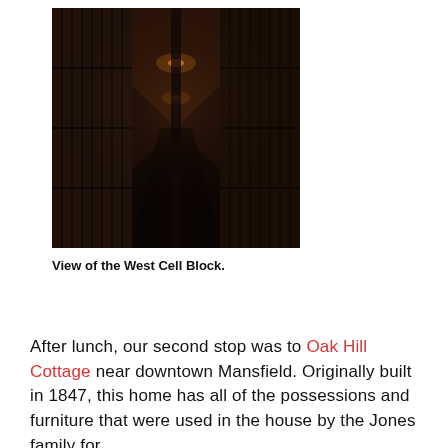[Figure (photo): Dark interior photograph of the West Cell Block, showing long prison corridor with multiple tiers of cells receding into the distance with dim overhead lights.]
View of the West Cell Block.
After lunch, our second stop was to Oak Hill Cottage near downtown Mansfield. Originally built in 1847, this home has all of the possessions and furniture that were used in the house by the Jones family for over 100 years. It was one of the most